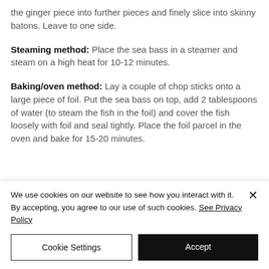the ginger piece into further pieces and finely slice into skinny batons.  Leave to one side.
Steaming method: Place the sea bass in a steamer and steam on a high heat for 10-12 minutes.
Baking/oven method: Lay a couple of chop sticks onto a large piece of foil.  Put the sea bass on top, add 2 tablespoons of water (to steam the fish in the foil) and cover the fish loosely with foil and seal tightly.  Place the foil parcel in the oven and bake for 15-20 minutes.
We use cookies on our website to see how you interact with it. By accepting, you agree to our use of such cookies. See Privacy Policy